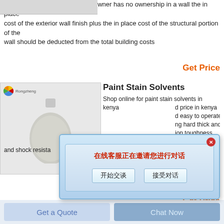owner has no ownership in a wall the in place cost of the exterior wall finish plus the in place cost of the structural portion of the wall should be deducted from the total building costs
Get Price
[Figure (photo): Product image of white powder/resin in a round bottle with Rongzheng logo]
Paint Stain Solvents
Shop online for paint stain solvents in kenya ... d price in kenya ... d easy to operate ... ng hard thick and ... ion toughness and shock resista... ion of surfaces
[Figure (screenshot): Chinese language chat dialog popup with message '在线客服正在邀请您进行对话' and buttons '开始交谈' and '接受对话']
Get Price
[Figure (photo): Image of a brown/wooden plastic brick]
Study Of Plastic Bricks Made From Waste Plastic
For the production of plastic bricks is an
Get a Quote
Chat Now